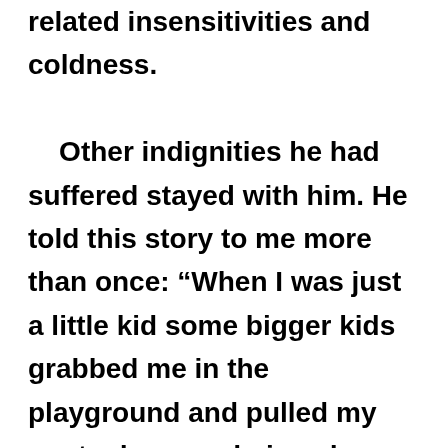related insensitivities and coldness. Other indignities he had suffered stayed with him. He told this story to me more than once: “When I was just a little kid some bigger kids grabbed me in the playground and pulled my pants down and pissed on me and rubbed my face in it. I swore I would get them back. And I never forgot. By the time I got back from the army I weighed two hundred pounds